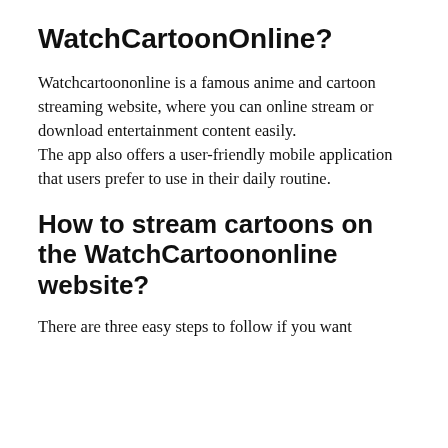WatchCartoonOnline?
Watchcartoononline is a famous anime and cartoon streaming website, where you can online stream or download entertainment content easily.
The app also offers a user-friendly mobile application that users prefer to use in their daily routine.
How to stream cartoons on the WatchCartoononline website?
There are three easy steps to follow if you want